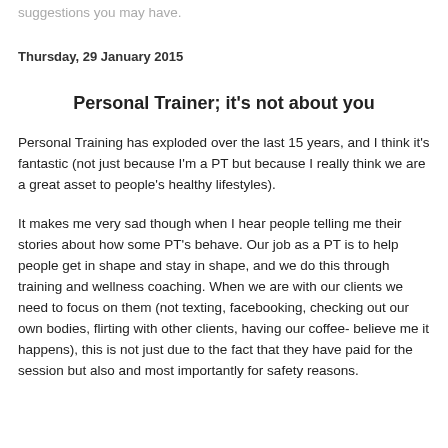suggestions you may have.
Thursday, 29 January 2015
Personal Trainer; it's not about you
Personal Training has exploded over the last 15 years, and I think it's fantastic (not just because I'm a PT but because I really think we are a great asset to people's healthy lifestyles).
It makes me very sad though when I hear people telling me their stories about how some PT's behave. Our job as a PT is to help people get in shape and stay in shape, and we do this through training and wellness coaching. When we are with our clients we need to focus on them (not texting, facebooking, checking out our own bodies, flirting with other clients, having our coffee- believe me it happens), this is not just due to the fact that they have paid for the session but also and most importantly for safety reasons.